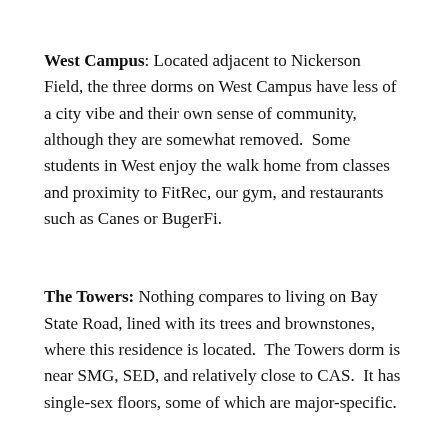West Campus: Located adjacent to Nickerson Field, the three dorms on West Campus have less of a city vibe and their own sense of community, although they are somewhat removed.  Some students in West enjoy the walk home from classes and proximity to FitRec, our gym, and restaurants such as Canes or BugerFi.
The Towers: Nothing compares to living on Bay State Road, lined with its trees and brownstones, where this residence is located.  The Towers dorm is near SMG, SED, and relatively close to CAS.  It has single-sex floors, some of which are major-specific.